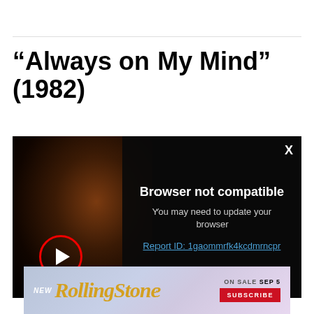“Always on My Mind” (1982)
[Figure (screenshot): Video player showing a dark photo of a person with red hair silhouetted against a dark background. A red circle play button is visible in the lower left. An overlay panel on the right displays 'Browser not compatible' error message with text 'You may need to update your browser' and a link 'Report ID: 1gaommrfk4kcdmrncpr'. A close X button is in the top right corner of the overlay.]
[Figure (illustration): Rolling Stone magazine advertisement banner. Shows 'NEW' text on left, Rolling Stone logo in yellow-gold italic script, and on the right 'ON SALE SEP 5' text with a red SUBSCRIBE button.]